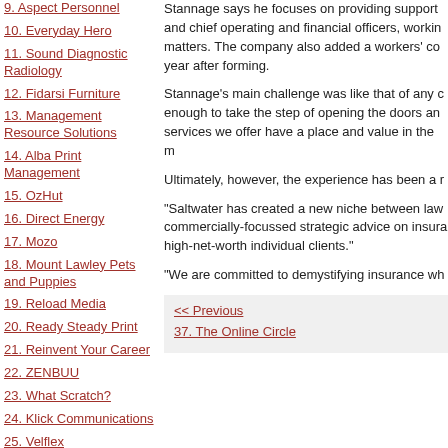9. Aspect Personnel
10. Everyday Hero
11. Sound Diagnostic Radiology
12. Fidarsi Furniture
13. Management Resource Solutions
14. Alba Print Management
15. OzHut
16. Direct Energy
17. Mozo
18. Mount Lawley Pets and Puppies
19. Reload Media
20. Ready Steady Print
21. Reinvent Your Career
22. ZENBUU
23. What Scratch?
24. Klick Communications
25. Velflex
26. Kidz Lidz Salons
Stannage says he focuses on providing support and chief operating and financial officers, working matters. The company also added a workers' co year after forming.
Stannage’s main challenge was like that of any c enough to take the step of opening the doors an services we offer have a place and value in the m
Ultimately, however, the experience has been a r
“Saltwater has created a new niche between law commercially-focussed strategic advice on insura high-net-worth individual clients.”
“We are committed to demystifying insurance wh
<< Previous
37. The Online Circle